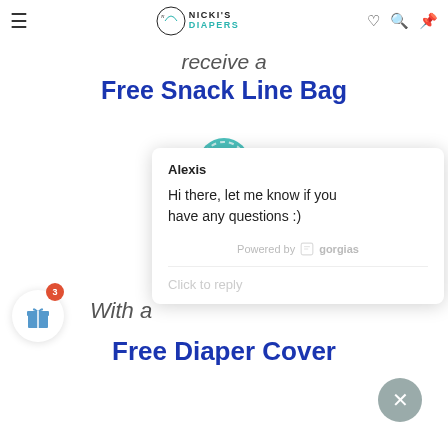Nicki's Diapers
receive a
Free Snack Line Bag
[Figure (screenshot): Chat popup widget showing agent name 'Alexis' with message 'Hi there, let me know if you have any questions :)' powered by Gorgias, with Click to reply input]
With a
Free Diaper Cover